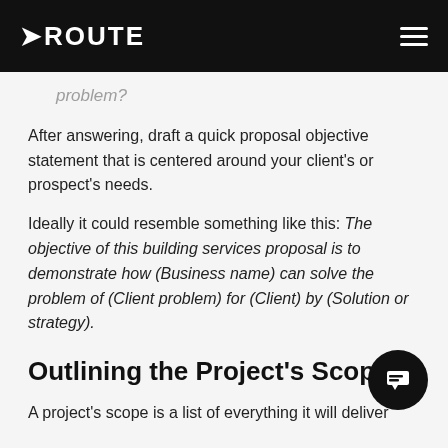ROUTE
problem?
After answering, draft a quick proposal objective statement that is centered around your client's or prospect's needs.
Ideally it could resemble something like this: The objective of this building services proposal is to demonstrate how (Business name) can solve the problem of (Client problem) for (Client) by (Solution or strategy).
Outlining the Project's Scope
A project's scope is a list of everything it will deliver